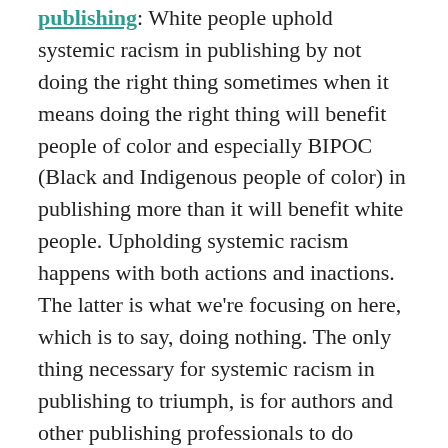publishing: White people uphold systemic racism in publishing by not doing the right thing sometimes when it means doing the right thing will benefit people of color and especially BIPOC (Black and Indigenous people of color) in publishing more than it will benefit white people. Upholding systemic racism happens with both actions and inactions. The latter is what we're focusing on here, which is to say, doing nothing. The only thing necessary for systemic racism in publishing to triumph, is for authors and other publishing professionals to do nothing.
The 2 kinds of diversity advocates in publishing: You might have noticed that a 9,000-member literary organization has been in the news since it wrongfully censured author Courtney